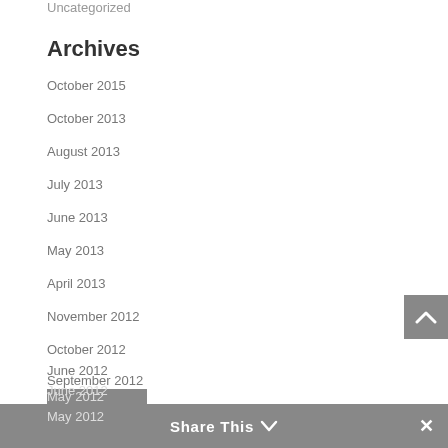Uncategorized
Archives
October 2015
October 2013
August 2013
July 2013
June 2013
May 2013
April 2013
November 2012
October 2012
September 2012
August 2012
June 2012
May 2012
Share This ∨  ✕